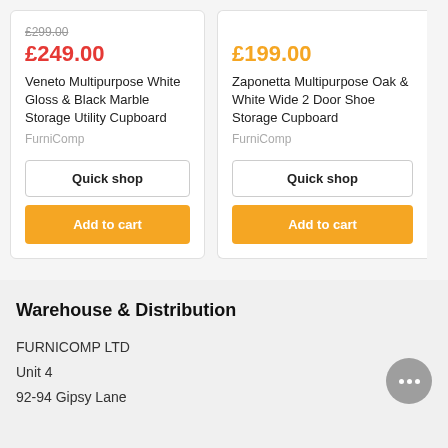£299.00 (strikethrough)
£249.00
Veneto Multipurpose White Gloss & Black Marble Storage Utility Cupboard
FurniComp
Quick shop
Add to cart
£199.00
Zaponetta Multipurpose Oak & White Wide 2 Door Shoe Storage Cupboard
FurniComp
Quick shop
Add to cart
Warehouse & Distribution
FURNICOMP LTD
Unit 4
92-94 Gipsy Lane